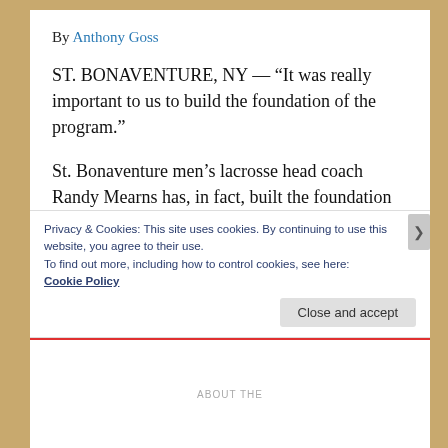By Anthony Goss
ST. BONAVENTURE, NY — “It was really important to us to build the foundation of the program.”
St. Bonaventure men’s lacrosse head coach Randy Mearns has, in fact, built the foundation of a reborn Bonnies program looking at history Friday afternoon.
The sixth-seeded Bonnies will host No. 3 Detroit
Privacy & Cookies: This site uses cookies. By continuing to use this website, you agree to their use.
To find out more, including how to control cookies, see here:
Cookie Policy
Close and accept